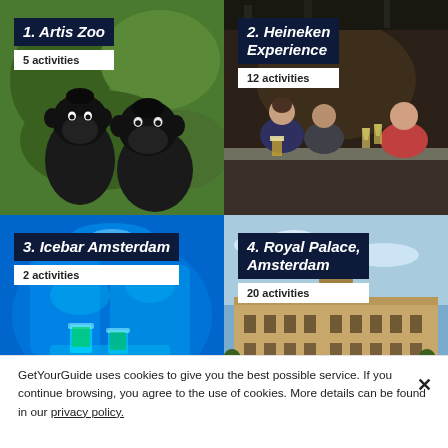[Figure (photo): Photo grid card 1: Artis Zoo, monkeys on green background]
[Figure (photo): Photo grid card 2: Heineken Experience, people at bar]
[Figure (photo): Photo grid card 3: Icebar Amsterdam, blue ice interior]
[Figure (photo): Photo grid card 4: Royal Palace Amsterdam, building exterior]
GetYourGuide uses cookies to give you the best possible service. If you continue browsing, you agree to the use of cookies. More details can be found in our privacy policy.